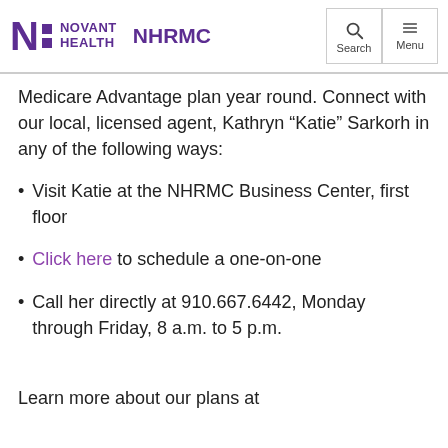Novant Health NHRMC
Medicare Advantage plan year round. Connect with our local, licensed agent, Kathryn “Katie” Sarkorh in any of the following ways:
Visit Katie at the NHRMC Business Center, first floor
Click here to schedule a one-on-one
Call her directly at 910.667.6442, Monday through Friday, 8 a.m. to 5 p.m.
Learn more about our plans at